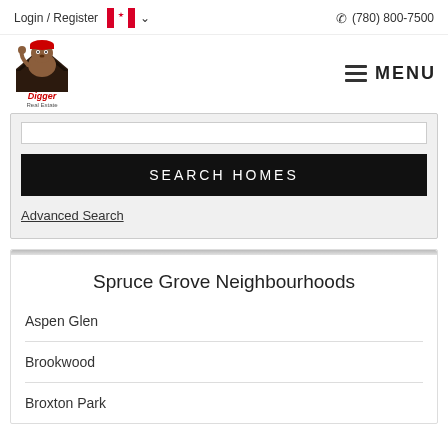Login / Register   🍁 ▾   (780) 800-7500
[Figure (logo): Digger Real Estate logo: cartoon beaver wearing a red hard hat waving, standing in front of a house, with red script text 'Digger' and 'Real Estate' below]
MENU
SEARCH HOMES
Advanced Search
Spruce Grove Neighbourhoods
Aspen Glen
Brookwood
Broxton Park